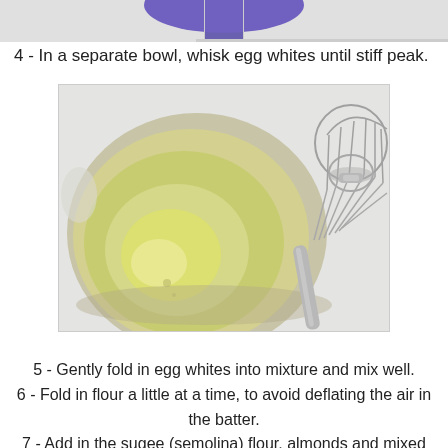[Figure (photo): Top portion of a previous step image showing a blue bowl, partially cropped at top of page]
4 - In a separate bowl, whisk egg whites until stiff peak.
[Figure (photo): A stainless steel mixing bowl containing egg whites (yellowish-clear liquid) next to a metal whisk, viewed from above on a white surface]
5 - Gently fold in egg whites into mixture and mix well.
6 - Fold in flour a little at a time, to avoid deflating the air in the batter.
7 - Add in the sugee (semolina) flour, almonds and mixed